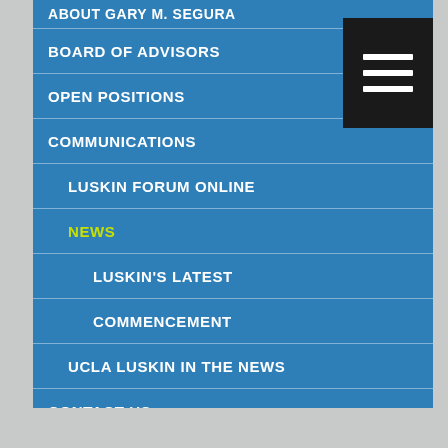ABOUT GARY M. SEGURA
BOARD OF ADVISORS
OPEN POSITIONS
COMMUNICATIONS
LUSKIN FORUM ONLINE
NEWS
LUSKIN'S LATEST
COMMENCEMENT
UCLA LUSKIN IN THE NEWS
CONTACT US
VISIT US
DIVERSITY, DISPARITIES AND DIFFERENCE